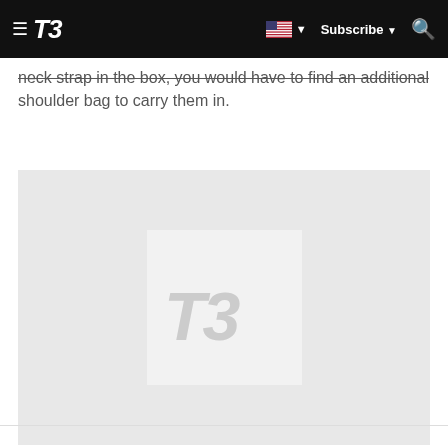T3 | Subscribe
neck strap in the box, you would have to find an additional shoulder bag to carry them in.
[Figure (photo): T3 logo placeholder image on a light grey background]